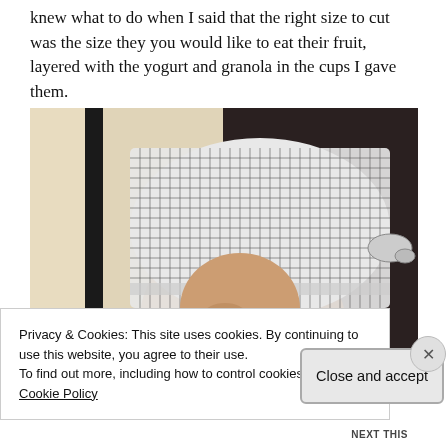knew what to do when I said that the right size to cut was the size they you would like to eat their fruit, layered with the yogurt and granola in the cups I gave them.
[Figure (photo): A child wearing a gingham (checkered black and white) chef's hat or bandana tied at the side, looking downward. Background shows a dark door frame and light-colored wall.]
Privacy & Cookies: This site uses cookies. By continuing to use this website, you agree to their use.
To find out more, including how to control cookies, see here: Cookie Policy